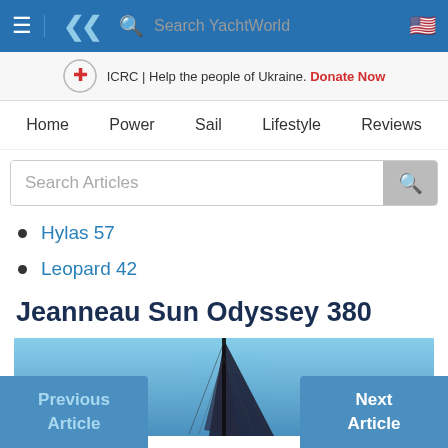YachtWorld navigation bar with search
ICRC | Help the people of Ukraine. Donate Now
Home  Power  Sail  Lifestyle  Reviews
Search Articles
Hylas 57
Leopard 42
Jeanneau Sun Odyssey 380
[Figure (photo): Aerial/mast-up photo of a sailboat sail against blue sky]
Previous Article   Next Article